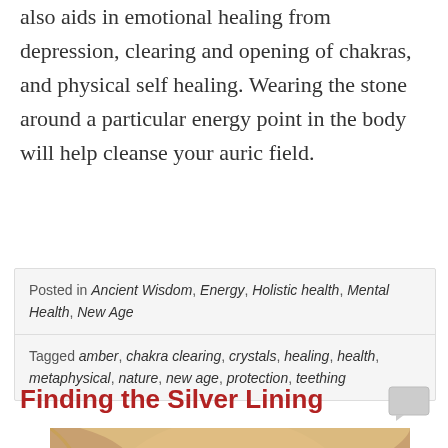also aids in emotional healing from depression, clearing and opening of chakras, and physical self healing. Wearing the stone around a particular energy point in the body will help cleanse your auric field.
Posted in Ancient Wisdom, Energy, Holistic health, Mental Health, New Age
Tagged amber, chakra clearing, crystals, healing, health, metaphysical, nature, new age, protection, teething
Finding the Silver Lining
[Figure (photo): Close-up photo of a woman's face with blonde hair and blue eyes]